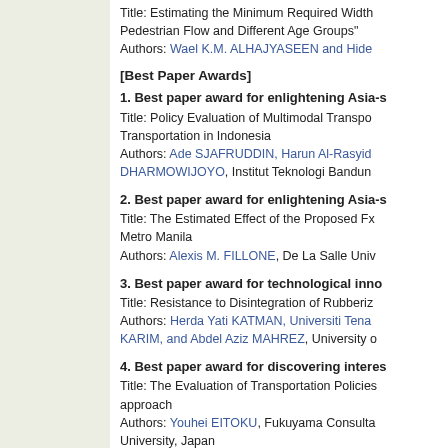Title: Estimating the Minimum Required Width... Pedestrian Flow and Different Age Groups"
Authors: Wael K.M. ALHAJYASEEN and Hide...
[Best Paper Awards]
1. Best paper award for enlightening Asia-s...
Title: Policy Evaluation of Multimodal Transpo... Transportation in Indonesia
Authors: Ade SJAFRUDDIN, Harun Al-Rasyid... DHARMOWIJOYO, Institut Teknologi Bandun...
2. Best paper award for enlightening Asia-s...
Title: The Estimated Effect of the Proposed Fx... Metro Manila
Authors: Alexis M. FILLONE, De La Salle Univ...
3. Best paper award for technological inno...
Title: Resistance to Disintegration of Rubberiz...
Authors: Herda Yati KATMAN, Universiti Tena... KARIM, and Abdel Aziz MAHREZ, University o...
4. Best paper award for discovering interes...
Title: The Evaluation of Transportation Policies... approach
Authors: Youhei EITOKU, Fukuyama Consulta... University, Japan
5. Best paper award for institutional innova...
Title: MOLTS: Multinational Operators for Loca...
Authors: Takeru SHIBAYAMA and Hitoshi IED...
6. Best paper award for theoretical develop...
Title: Queuing Pricings to Bulk Carriers at the...
Authors: Chen-Hsiu LAIH, and Pey-Yuan SUN...